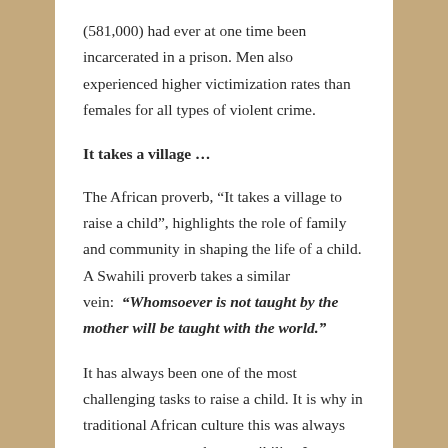(581,000) had ever at one time been incarcerated in a prison. Men also experienced higher victimization rates than females for all types of violent crime.
It takes a village …
The African proverb, “It takes a village to raise a child”, highlights the role of family and community in shaping the life of a child. A Swahili proverb takes a similar vein: “Whomsoever is not taught by the mother will be taught with the world.”
It has always been one of the most challenging tasks to raise a child. It is why in traditional African culture this was always seen as a communal responsibility. In our modern cultures the single mother is left without a support structure, having to